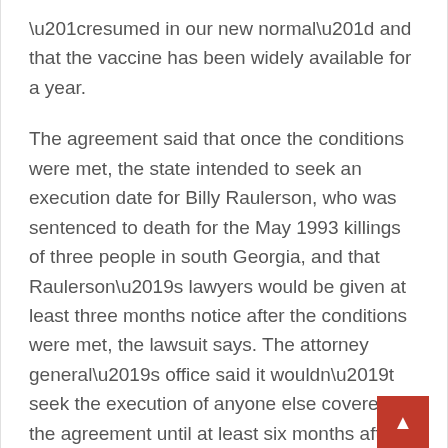“resumed in our new normal” and that the vaccine has been widely available for a year.
The agreement said that once the conditions were met, the state intended to seek an execution date for Billy Raulerson, who was sentenced to death for the May 1993 killings of three people in south Georgia, and that Raulerson’s lawyers would be given at least three months notice after the conditions were met, the lawsuit says. The attorney general’s office said it wouldn’t seek the execution of anyone else covered by the agreement until at least six months after the conditions were met, the lawsuit says.